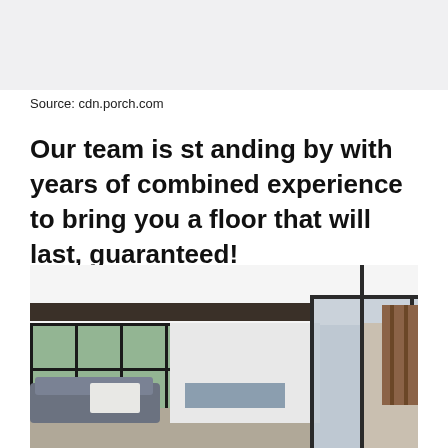[Figure (photo): Light gray placeholder area representing a cropped photo at the top of the page]
Source: cdn.porch.com
Our team is st anding by with years of combined experience to bring you a floor that will last, guaranteed!
[Figure (photo): Interior photo of a modern open-plan living area with large glass bi-fold doors opening to an outdoor deck, dark-framed windows on the left showing greenery, gray sofa, and kitchen in background]